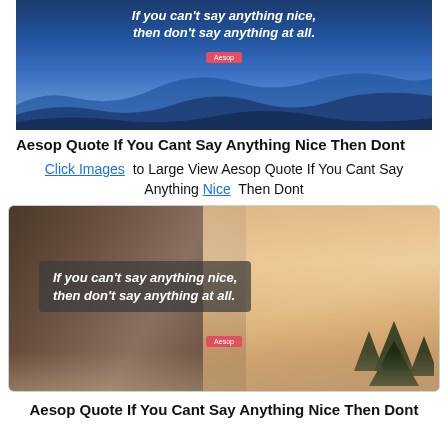[Figure (photo): Blue mountain landscape with quote text: 'If you can't say anything nice, then don't say anything at all.' attributed to Aesop]
Aesop Quote If You Cant Say Anything Nice Then Dont
Click Images  to Large View Aesop Quote If You Cant Say Anything Nice  Then Dont
[Figure (photo): Rocky mountain cliff landscape at sunset with quote overlay: 'If you can't say anything nice, then don't say anything at all.' attributed to Aesop]
Aesop Quote If You Cant Say Anything Nice Then Dont